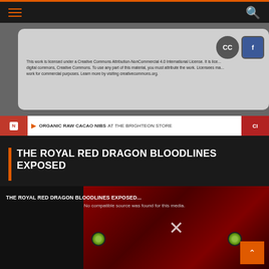Navigation bar with hamburger menu and search icon
[Figure (screenshot): Creative Commons license box showing CC and Facebook icons with license text: This work is licensed under a Creative Commons Attribution-NonCommercial 4.0 International License. It is licensed through digital commons, Creative Commons. To use any part of this material, you must attribute the work. Licensees may not use work for commercial purposes. Learn more by visiting creativecommons.org.]
[Figure (infographic): Ad banner: ORGANIC RAW CACAO NIBS AT THE BRIGHTEON STORE]
THE ROYAL RED DRAGON BLOODLINES EXPOSED
[Figure (screenshot): Video player with title THE ROYAL RED DRAGON BLOODLINES EXPOSED. No compatible source was found for this media. Shows a manipulated image of Queen Elizabeth II with X close button. Orange scroll-to-top button in bottom right.]